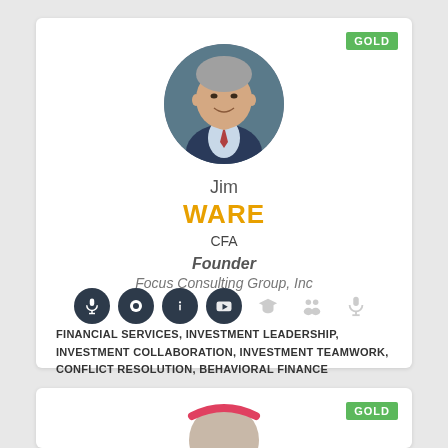[Figure (photo): Circular profile photo of Jim Ware, a middle-aged man with gray hair wearing a suit and tie, smiling]
Jim WARE
CFA
Founder
Focus Consulting Group, Inc
[Figure (infographic): Row of social/media icons: microphone, flag/bookmark, info, YouTube, graduation cap (grayed), people (grayed), microphone (grayed)]
FINANCIAL SERVICES, INVESTMENT LEADERSHIP, INVESTMENT COLLABORATION, INVESTMENT TEAMWORK, CONFLICT RESOLUTION, BEHAVIORAL FINANCE
[Figure (photo): Partial circular profile photo of a second speaker, partially visible at the bottom of the page, wearing a red headband]
GOLD